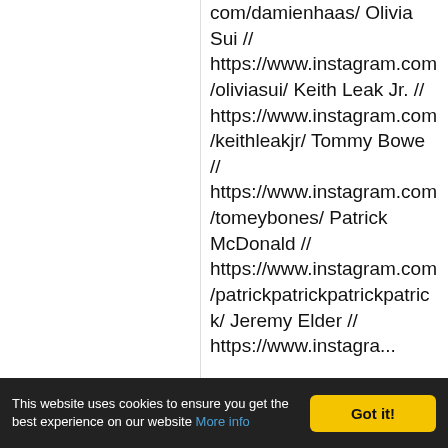com/damienhaas/ Olivia Sui // https://www.instagram.com/oliviasui/ Keith Leak Jr. // https://www.instagram.com/keithleakjr/ Tommy Bowe // https://www.instagram.com/tomeybones/ Patrick McDonald // https://www.instagram.com/patrickpatrickpatrickpatrick/ Jeremy Elder // https://www.instagram...
This website uses cookies to ensure you get the best experience on our website More info